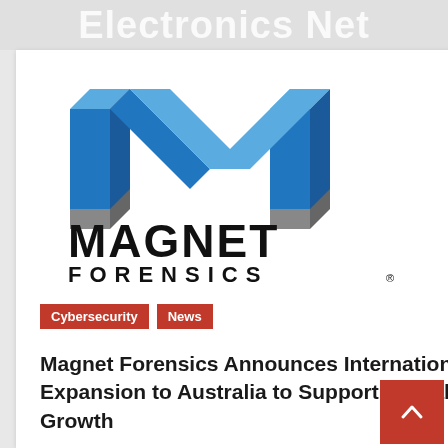Electronics Net
[Figure (logo): Magnet Forensics logo: a blue 3D letter M above the text MAGNET FORENSICS in bold black]
Cybersecurity  News
Magnet Forensics Announces International Expansion to Australia to Support Global Growth
15 hours ago